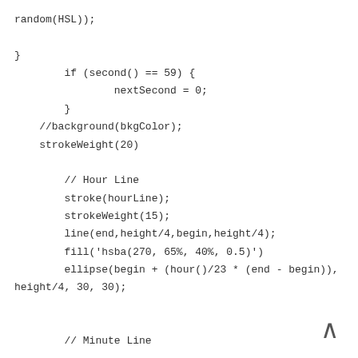random(HSL));
}
        if (second() == 59) {
                nextSecond = 0;
        }
    //background(bkgColor);
    strokeWeight(20)

        // Hour Line
        stroke(hourLine);
        strokeWeight(15);
        line(end,height/4,begin,height/4);
        fill('hsba(270, 65%, 40%, 0.5)')
        ellipse(begin + (hour()/23 * (end - begin)),
height/4, 30, 30);


        // Minute Line

        stroke(minuteLine);